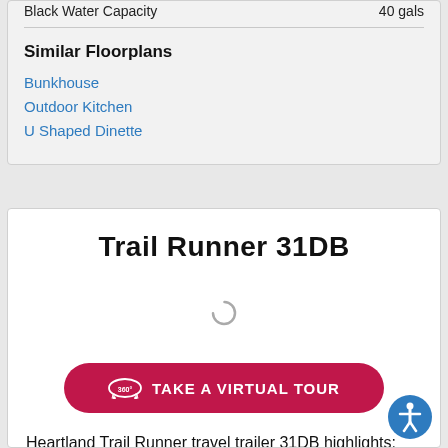Black Water Capacity   40 gals
Similar Floorplans
Bunkhouse
Outdoor Kitchen
U Shaped Dinette
Trail Runner 31DB
[Figure (other): Loading spinner / 360 virtual tour loading area]
TAKE A VIRTUAL TOUR
Heartland Trail Runner travel trailer 31DB highlights: Bunk Beds Bath and a Half ... more